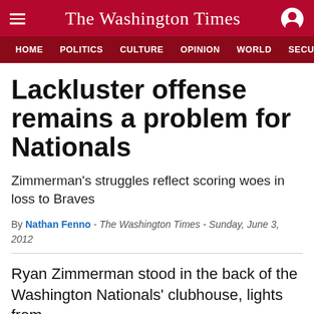The Washington Times
HOME  POLITICS  CULTURE  OPINION  WORLD  SECURITY
Lackluster offense remains a problem for Nationals
Zimmerman's struggles reflect scoring woes in loss to Braves
By Nathan Fenno - The Washington Times - Sunday, June 3, 2012
Ryan Zimmerman stood in the back of the Washington Nationals' clubhouse, lights from